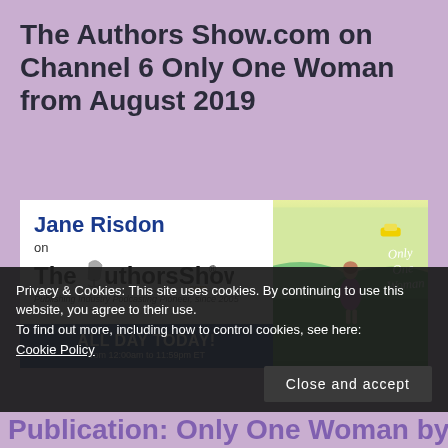The Authors Show.com on Channel 6 Only One Woman from August 2019
[Figure (screenshot): Screenshot of The Authors Show website featuring Jane Risdon interview and the book cover 'Only One Woman' by Christina Jones and Jane Risdon. Left panel shows Jane Risdon on The AuthorsShow.com logo with 'Publishing Industry Podcasting Pioneer, since 2005' and a blue banner reading 'ALL DAY TODAY! from 12:00am to 11:59pm ET'. Right panel shows the book cover with illustrated woman walking, yellow-green background.]
Privacy & Cookies: This site uses cookies. By continuing to use this website, you agree to their use.
To find out more, including how to control cookies, see here:
Cookie Policy
Close and accept
Publication: Only One Woman by